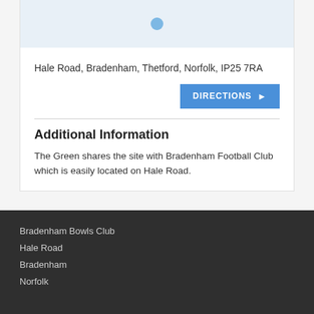[Figure (map): Map showing location with a blue pin marker]
Hale Road, Bradenham, Thetford, Norfolk, IP25 7RA
DIRECTIONS ▶
Additional Information
The Green shares the site with Bradenham Football Club which is easily located on Hale Road.
Bradenham Bowls Club
Hale Road
Bradenham
Norfolk